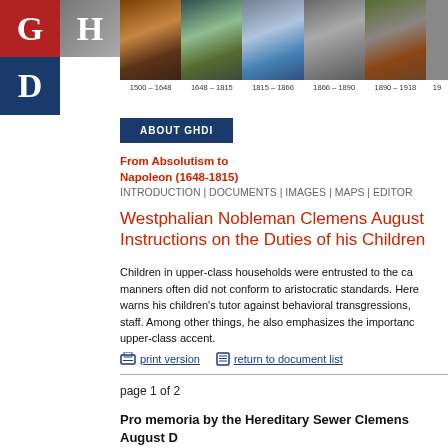[Figure (screenshot): GHDI website header with logo and era navigation strips showing historical periods from 1500 to 1918+]
[Figure (other): About GHDI button (dark blue)]
From Absolutism to Napoleon (1648-1815)
INTRODUCTION | DOCUMENTS | IMAGES | MAPS | EDITOR
Westphalian Nobleman Clemens August Instructions on the Duties of his Children
Children in upper-class households were entrusted to the care of tutors whose manners often did not conform to aristocratic standards. Here, Clemens August warns his children's tutor against behavioral transgressions, particularly among staff. Among other things, he also emphasizes the importance of speaking with an upper-class accent.
print version   return to document list
page 1 of 2
Pro memoria by the Hereditary Sewer Clemens August D